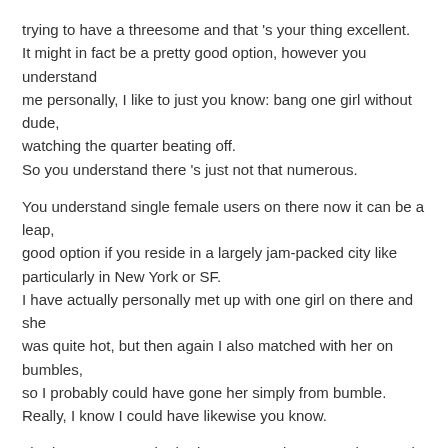trying to have a threesome and that 's your thing excellent. It might in fact be a pretty good option, however you understand me personally, I like to just you know: bang one girl without dude, watching the quarter beating off. So you understand there 's just not that numerous.
You understand single female users on there now it can be a leap, good option if you reside in a largely jam-packed city like particularly in New York or SF. I have actually personally met up with one girl on there and she was quite hot, but then again I also matched with her on bumbles, so I probably could have gone her simply from bumble. Really, I know I could have likewise you know.
I had a roommate who had some experiences on there and you know the quality of ladies he fulfilled up on. There just ran the gamut, so the field – it 's not it 's, not a I 'm, not not advising him, but I 'm also not not suggesting it.